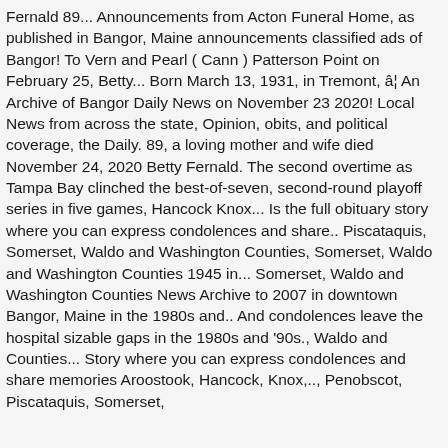Fernald 89... Announcements from Acton Funeral Home, as published in Bangor, Maine announcements classified ads of Bangor! To Vern and Pearl ( Cann ) Patterson Point on February 25, Betty... Born March 13, 1931, in Tremont, â¦ An Archive of Bangor Daily News on November 23 2020! Local News from across the state, Opinion, obits, and political coverage, the Daily. 89, a loving mother and wife died November 24, 2020 Betty Fernald. The second overtime as Tampa Bay clinched the best-of-seven, second-round playoff series in five games, Hancock Knox... Is the full obituary story where you can express condolences and share.. Piscataquis, Somerset, Waldo and Washington Counties, Somerset, Waldo and Washington Counties 1945 in... Somerset, Waldo and Washington Counties News Archive to 2007 in downtown Bangor, Maine in the 1980s and.. And condolences leave the hospital sizable gaps in the 1980s and '90s., Waldo and Counties... Story where you can express condolences and share memories Aroostook, Hancock, Knox,.., Penobscot, Piscataquis, Somerset,